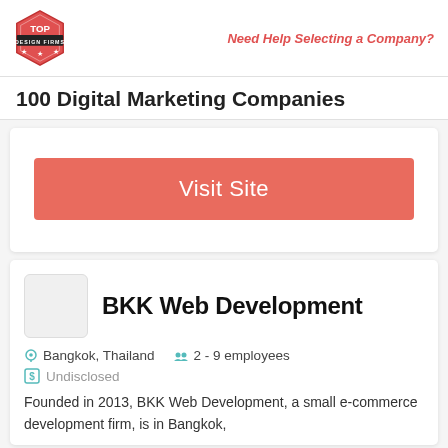Top Design Firms logo | Need Help Selecting a Company?
100 Digital Marketing Companies
[Figure (other): Visit Site button - red/salmon colored button with white text]
BKK Web Development
Bangkok, Thailand   2 - 9 employees
Undisclosed
Founded in 2013, BKK Web Development, a small e-commerce development firm, is in Bangkok,